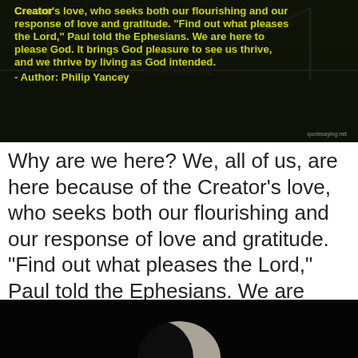[Figure (photo): Aerial/overhead photo of a suspension bridge over a river with dense trees, overlaid with a yellow-green quote text on a dark semi-transparent background. Quote text reads: 'Creator's love, who seeks both our flourishing and our response of love and gratitude. "Find out what pleases the Lord," Paul told the Ephesians. We are here to please God. It brings God pleasure to see us thrive, and we thrive by living as God intended. – Author: Philip Yancey']
Why are we here? We, all of us, are here because of the Creator's love, who seeks both our flourishing and our response of love and gratitude. "Find out what pleases the Lord," Paul told the Ephesians. We are here to please God. It brings God pleasure to see us thrive, and we thrive by living as God intended. — Philip Yancey
[Figure (photo): Dark/black photo cropped at bottom of page, appears to show a partially illuminated round object (possibly moon) against a black background.]